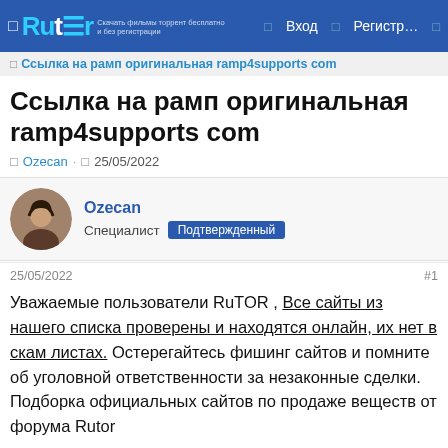□ Rutor □ Вход □ Регистр… □
□ Ссылка на рамп оригинальная ramp4supports com
Ссылка на рамп оригинальная ramp4supports com
□ Ozecan · □ 25/05/2022
Ozecan Специалист Подтвержденный
25/05/2022 #1
Уважаемые пользователи RuTOR , Все сайты из нашего списка проверены и находятся онлайн, их нет в скам листах. Остерегайтесь фишинг сайтов и помните об уголовной ответственности за незаконные сделки. Подборка официальных сайтов по продаже веществ от форума Rutor